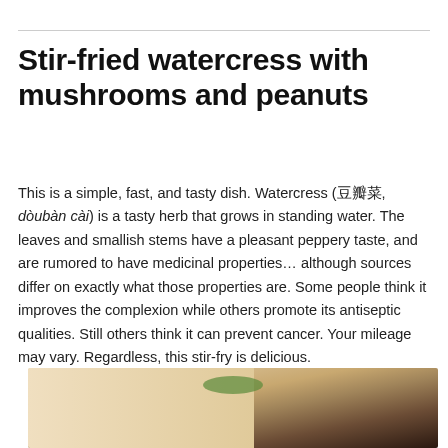Stir-fried watercress with mushrooms and peanuts
This is a simple, fast, and tasty dish. Watercress (豆瓣菜, dòubàn cài) is a tasty herb that grows in standing water. The leaves and smallish stems have a pleasant peppery taste, and are rumored to have medicinal properties… although sources differ on exactly what those properties are. Some people think it improves the complexion while others promote its antiseptic qualities. Still others think it can prevent cancer. Your mileage may vary. Regardless, this stir-fry is delicious.
[Figure (photo): Partial view of a plated dish of stir-fried watercress with mushrooms and peanuts on a white plate, dark blurred background]